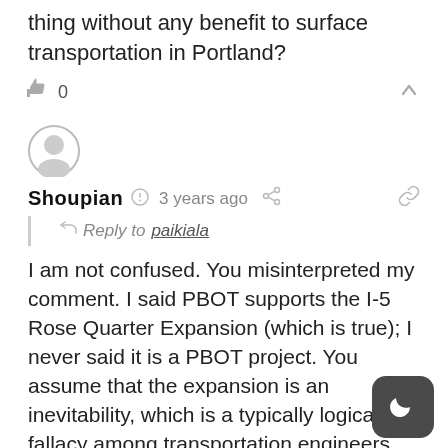thing without any benefit to surface transportation in Portland?
0
[Figure (other): User avatar circle with person silhouette icon]
Shoupian  3 years ago
Reply to paikiala
I am not confused. You misinterpreted my comment. I said PBOT supports the I-5 Rose Quarter Expansion (which is true); I never said it is a PBOT project. You assume that the expansion is an inevitability, which is a typically logical fallacy among transportation engineers. To answer your question, I prefer PBOT actually take a stand for what it purports to value by opposing expanding a freeway in the Central City. Making driving easier by investing millions in